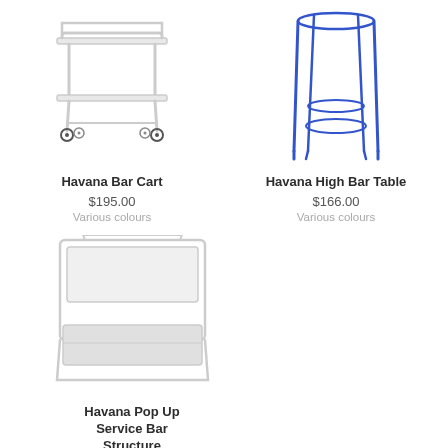[Figure (photo): White metal bar cart with two shelves and four black wheels]
Havana Bar Cart
$195.00
Various colours
[Figure (photo): Blue metal high bar table with tall legs and circular footrest ring]
Havana High Bar Table
$166.00
Various colours
[Figure (photo): White metal pop up service bar structure with rectangular frame and lower shelf]
Havana Pop Up Service Bar Structure